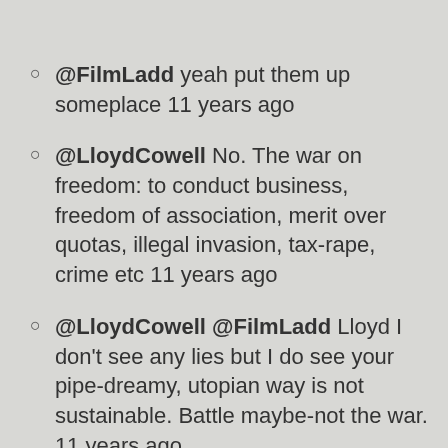@FilmLadd yeah put them up someplace 11 years ago
@LloydCowell No. The war on freedom: to conduct business, freedom of association, merit over quotas, illegal invasion, tax-rape, crime etc 11 years ago
@LloydCowell @FilmLadd Lloyd I don't see any lies but I do see your pipe-dreamy, utopian way is not sustainable. Battle maybe-not the war. 11 years ago
@Rosiecosy @FilmLadd genius eh...-more like specialization, but very literal-minded, can't pick up on subtleties of life, complex reality 11 years ago